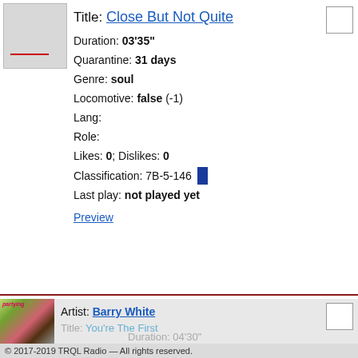Title: Close But Not Quite
Duration: 03'35"
Quarantine: 31 days
Genre: soul
Locomotive: false (-1)
Lang:
Role:
Likes: 0; Dislikes: 0
Classification: 7B-5-146
Last play: not played yet
Preview
Artist: Barry White
Title: You're The First
Duration: 04'30"
© 2017-2019 TRQL Radio — All rights reserved.